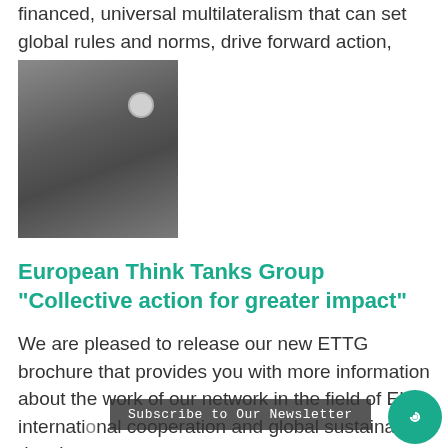financed, universal multilateralism that can set global rules and norms, drive forward action, and...
[Figure (photo): Close-up photo of a person in a dark suit jacket with a small circular emblem on the sleeve, wearing a watch, arms crossed or resting]
European Think Tanks Group “Collective action for greater impact”
We are pleased to release our new ETTG brochure that provides you with more information about the work of our network in the field of EU international cooperation and global sustainable development.
Subscribe to Our Newsletter